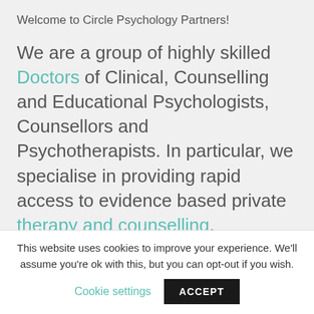Welcome to Circle Psychology Partners!
We are a group of highly skilled Doctors of Clinical, Counselling and Educational Psychologists, Counsellors and Psychotherapists. In particular, we specialise in providing rapid access to evidence based private therapy and counselling.
This website uses cookies to improve your experience. We'll assume you're ok with this, but you can opt-out if you wish.
Cookie settings
ACCEPT